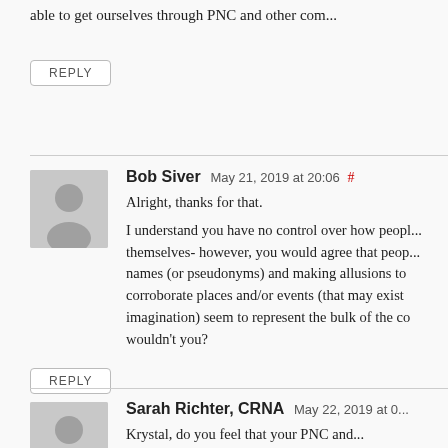able to get ourselves through PNC and other com...
REPLY
Bob Siver May 21, 2019 at 20:06 #

Alright, thanks for that.
I understand you have no control over how people themselves- however, you would agree that people names (or pseudonyms) and making allusions to corroborate places and/or events (that may exist imagination) seem to represent the bulk of the co wouldn't you?
REPLY
Sarah Richter, CRNA May 22, 2019 at 0...

Krystal, do you feel that your PNC and...